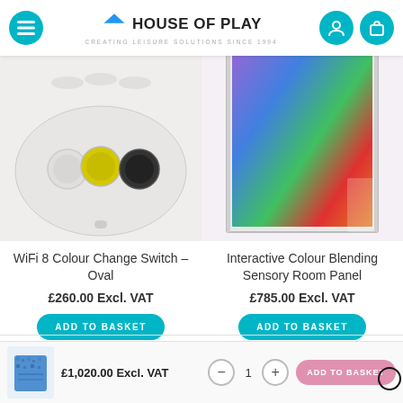House of Play — Creating Leisure Solutions Since 1994
[Figure (photo): WiFi 8 Colour Change Switch Oval product photo showing white oval device with coloured buttons]
WiFi 8 Colour Change Switch – Oval
£260.00 Excl. VAT
[Figure (photo): Interactive Colour Blending Sensory Room Panel showing colourful LED light panel]
Interactive Colour Blending Sensory Room Panel
£785.00 Excl. VAT
RELATED PRODUCTS
£1,020.00 Excl. VAT